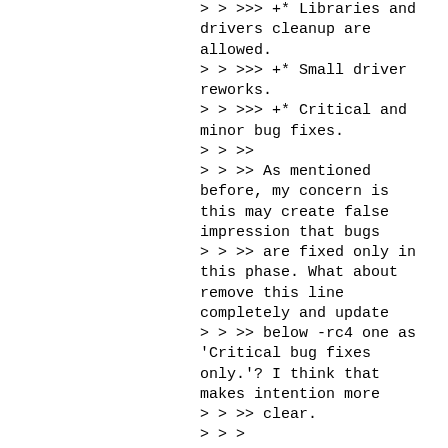> > >>> +* Libraries and drivers cleanup are allowed.
> > >>> +* Small driver reworks.
> > >>> +* Critical and minor bug fixes.
> > >>
> > >> As mentioned before, my concern is this may create false impression that bugs
> > >> are fixed only in this phase. What about remove this line completely and update
> > >> below -rc4 one as 'Critical bug fixes only.'? I think that makes intention more
> > >> clear.
> > >
> > > I had added in -rc2: "Any issue found in -rc1 should be fixed."
> > > Do you want to remove it as well?
> >
> > I think we can keep it. good to highlight